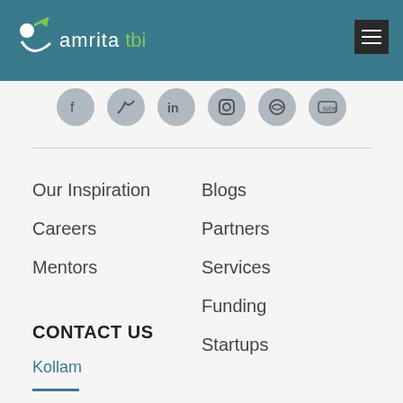amrita tbi
[Figure (other): Social media icons row: Facebook, Twitter, LinkedIn, Instagram, WordPress, YouTube]
Our Inspiration
Careers
Mentors
Blogs
Partners
Services
Funding
Startups
CONTACT US
Kollam